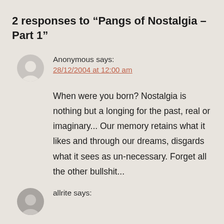2 responses to “Pangs of Nostalgia - Part 1”
Anonymous says:
28/12/2004 at 12:00 am
When were you born? Nostalgia is nothing but a longing for the past, real or imaginary... Our memory retains what it likes and through our dreams, disgards what it sees as un-necessary. Forget all the other bullshit...
allrite says: